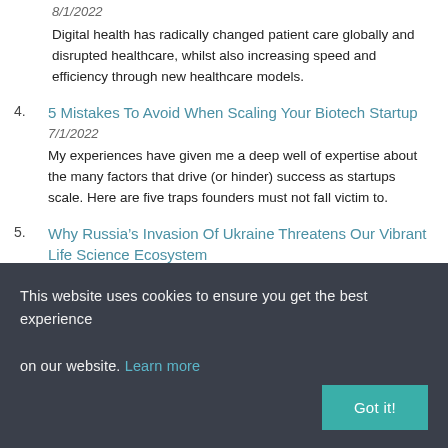8/1/2022
Digital health has radically changed patient care globally and disrupted healthcare, whilst also increasing speed and efficiency through new healthcare models.
4. 5 Mistakes To Avoid When Scaling Your Biotech Startup
7/1/2022
My experiences have given me a deep well of expertise about the many factors that drive (or hinder) success as startups scale. Here are five traps founders must not fall victim to.
5. Why Russia’s Invasion Of Ukraine Threatens Our Vibrant Life Science Ecosystem
6/1/2022
This website uses cookies to ensure you get the best experience on our website. Learn more